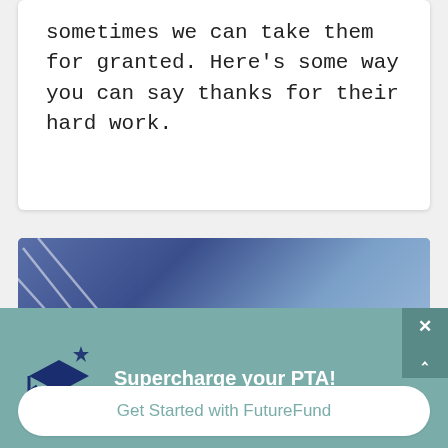sometimes we can take them for granted. Here's some way you can say thanks for their hard work.
[Figure (photo): Hands holding a small note that reads 'MAKE A CHANGE' against a blue denim background with diagonal white lines on the left side]
Supercharge your PTA!
Get Started with FutureFund